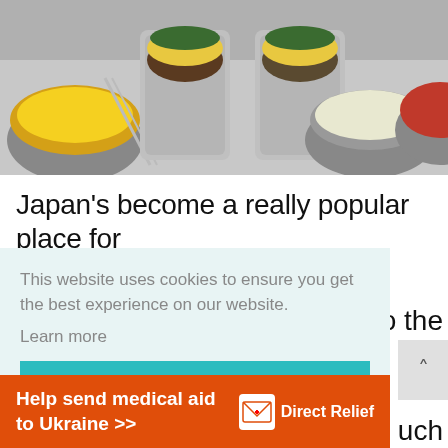[Figure (photo): Photo of a food buffet with multiple metal containers holding various toppings: yellow corn, minced meat, corn with toppings, green onions, bean sprouts, kimchi, and other Japanese food bar ingredients. Japanese text visible on labels.]
Japan's become a really popular place for
This website uses cookies to ensure you get the best experience on our website.
Learn more
Got it!
o the
e
uch
[Figure (infographic): Direct Relief advertisement banner: 'Help send medical aid to Ukraine >>' with Direct Relief logo (white envelope icon with red cross) on orange background]